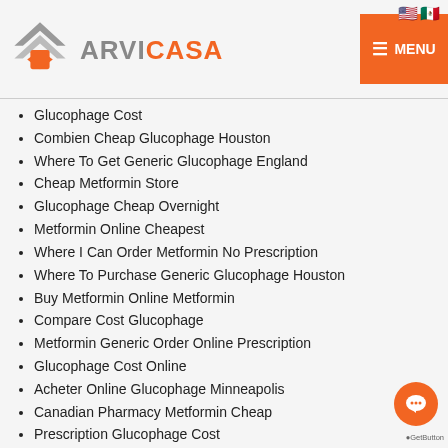[Figure (logo): ArviCasa logo with geometric arrow/house shape in gray and orange, with text ARVI in gray and CASA in orange]
Glucophage Cost
Combien Cheap Glucophage Houston
Where To Get Generic Glucophage England
Cheap Metformin Store
Glucophage Cheap Overnight
Metformin Online Cheapest
Where I Can Order Metformin No Prescription
Where To Purchase Generic Glucophage Houston
Buy Metformin Online Metformin
Compare Cost Glucophage
Metformin Generic Order Online Prescription
Glucophage Cost Online
Acheter Online Glucophage Minneapolis
Canadian Pharmacy Metformin Cheap
Prescription Glucophage Cost